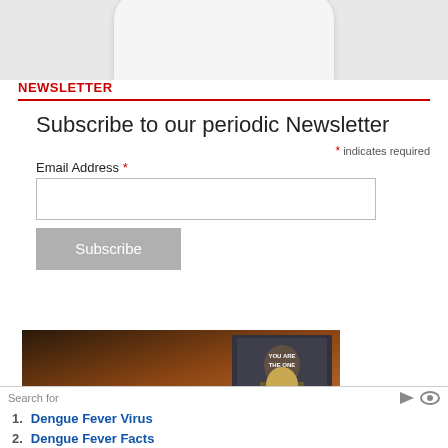[Figure (photo): Cropped top portion of a white rounded product (appears to be an AirPods case or similar white device) on a light gray background]
NEWSLETTER
Subscribe to our periodic Newsletter
* indicates required
Email Address *
[Figure (screenshot): Advertisement banner image with dark brown/orange gradient background and a woman in yellow clothing on the right side, with a WiFi symbol at the bottom center]
Search for
1. Dengue Fever Virus
2. Dengue Fever Facts